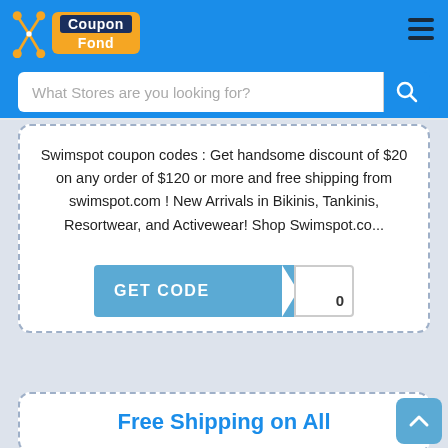[Figure (logo): CouponFond logo with scissors icon on blue header background]
What Stores are you looking for?
Swimspot coupon codes : Get handsome discount of $20 on any order of $120 or more and free shipping from swimspot.com ! New Arrivals in Bikinis, Tankinis, Resortwear, and Activewear! Shop Swimspot.co...
[Figure (other): GET CODE button with coupon ticket style design showing partial code '0']
Free Shipping on All